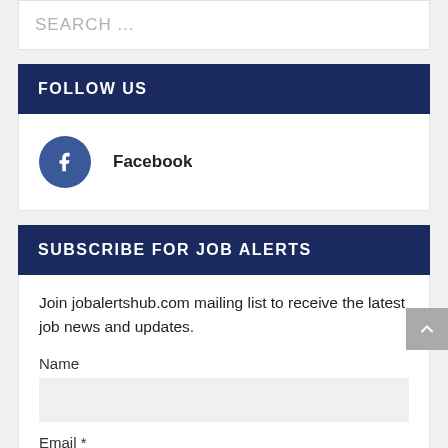SEARCH ...
FOLLOW US
Facebook
SUBSCRIBE FOR JOB ALERTS
Join jobalertshub.com mailing list to receive the latest job news and updates.
Name
Email *